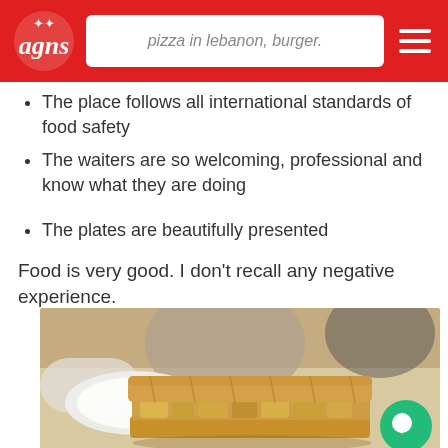pizza in lebanon, burger.
The place follows all international standards of food safety
The waiters are so welcoming, professional and know what they are doing
The plates are beautifully presented
Food is very good. I don't recall any negative experience.
[Figure (photo): A close-up photo of a baked pastry or pie slice on a plate at a restaurant table, with a white plate and other diners visible in the background.]